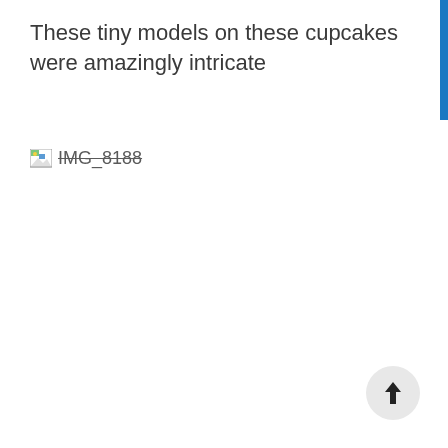These tiny models on these cupcakes were amazingly intricate
[Figure (other): Broken image placeholder with filename IMG_8188 shown with strikethrough text and a broken image icon]
[Figure (other): Blue vertical bar on right edge, likely a UI scroll indicator or sidebar element]
[Figure (other): Circular scroll-to-top button with upward arrow in bottom-right corner]